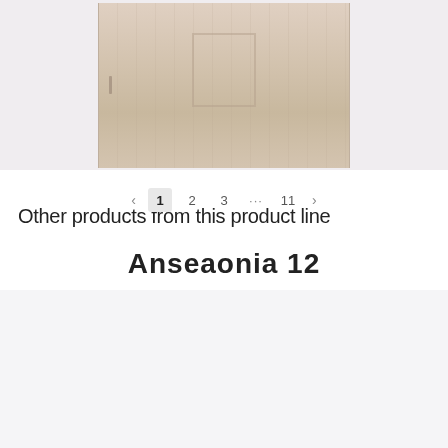[Figure (photo): A light wood-grain interior door with a recessed panel and door handle, shown against a light blue-grey background.]
Other products from this product line
Anseaonia 12
[Figure (photo): Product image area for Anseaonia 12, shown as a light grey placeholder.]